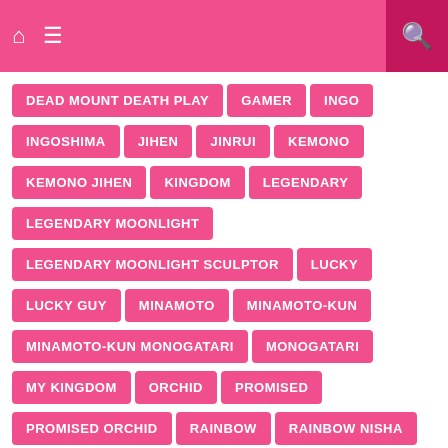Home Menu Search
DEAD MOUNT DEATH PLAY
GAMER
INGO
INGOSHIMA
JIHEN
JINRUI
KEMONO
KEMONO JIHEN
KINGDOM
LEGENDARY
LEGENDARY MOONLIGHT
LEGENDARY MOONLIGHT SCULPTOR
LUCKY
LUCKY GUY
MINAMOTO
MINAMOTO-KUN
MINAMOTO-KUN MONOGATARI
MONOGATARI
MY KINGDOM
ORCHID
PROMISED
PROMISED ORCHID
RAINBOW
RAINBOW NISHA
RAINBOW NISHA ROKUBOU
RAINBOW NISHA ROKUBOU NO SHICHININ
SHIMA
SHOKURYOU
SHOKURYOU JINRUI